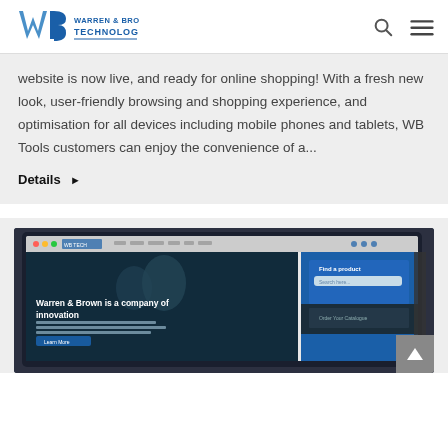Warren & Brown Technologies
website is now live, and ready for online shopping! With a fresh new look, user-friendly browsing and shopping experience, and optimisation for all devices including mobile phones and tablets, WB Tools customers can enjoy the convenience of a...
Details ▶
[Figure (screenshot): Screenshot of Warren & Brown Technologies website displayed on a laptop. The website shows 'Warren & Brown is a company of innovation' with a dark blue hero section and a search/product finder panel on the right.]